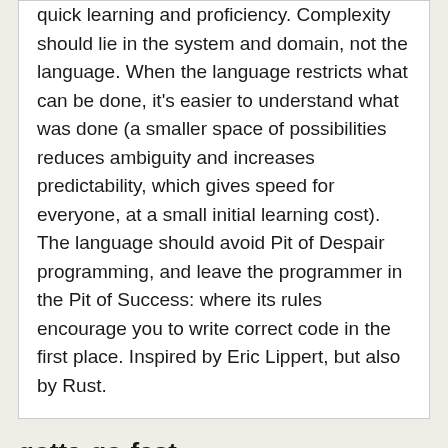quick learning and proficiency. Complexity should lie in the system and domain, not the language. When the language restricts what can be done, it's easier to understand what was done (a smaller space of possibilities reduces ambiguity and increases predictability, which gives speed for everyone, at a small initial learning cost). The language should avoid Pit of Despair programming, and leave the programmer in the Pit of Success: where its rules encourage you to write correct code in the first place. Inspired by Eric Lippert, but also by Rust.
gotta-go-fast
Posts with mentions or reviews of gotta-go-fast. We have used some of these posts to build our list of alternatives and similar projects. The last one was on 2021-12-29...